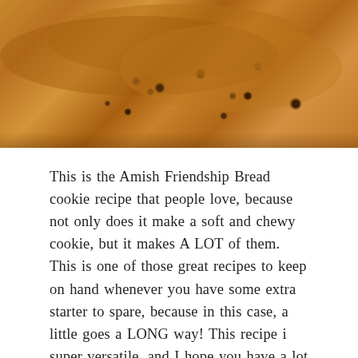[Figure (photo): Close-up photo of golden brown cookies, likely chocolate chip cookies, shown from above at an angle. The cookies appear soft and chewy with a warm amber/golden color.]
This is the Amish Friendship Bread cookie recipe that people love, because not only does it make a soft and chewy cookie, but it makes A LOT of them. This is one of those great recipes to keep on hand whenever you have some extra starter to spare, because in this case, a little goes a LONG way! This recipe is super versatile, and I hope you have a lot of fun with it. If you've tried this recipe and loved it, snap a pic and send it in. Take a look at what other members of the ... [READ MORE...]